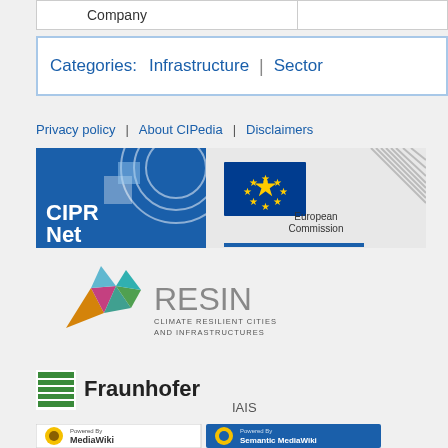| Company |
| --- |
|  |
Categories:  Infrastructure | Sector
Privacy policy   About CIPedia   Disclaimers
[Figure (logo): CIPRNet logo (blue square with arc design and text CIPRNet)]
[Figure (logo): European Commission logo with EU flag (circle of yellow stars on blue background) and text 'European Commission' with decorative grey lines]
[Figure (logo): RESIN - Climate Resilient Cities and Infrastructures logo with colorful geometric crystal/mountain shape]
[Figure (logo): Fraunhofer IAIS logo with green stripe icon and text Fraunhofer IAIS]
[Figure (logo): Powered by MediaWiki badge and Powered by Semantic MediaWiki badge]